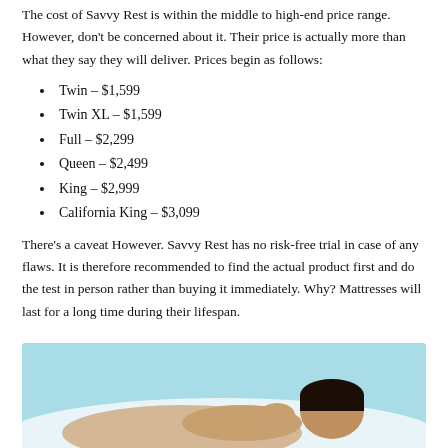The cost of Savvy Rest is within the middle to high-end price range. However, don't be concerned about it. Their price is actually more than what they say they will deliver. Prices begin as follows:
Twin – $1,599
Twin XL – $1,599
Full – $2,299
Queen – $2,499
King – $2,999
California King – $3,099
There's a caveat However. Savvy Rest has no risk-free trial in case of any flaws. It is therefore recommended to find the actual product first and do the test in person rather than buying it immediately. Why? Mattresses will last for a long time during their lifespan.
[Figure (photo): Photo of a person lying on a mattress, viewed from above, with light blue/teal background tones]